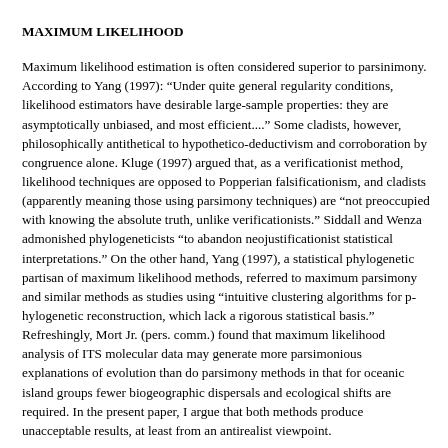MAXIMUM LIKELIHOOD
Maximum likelihood estimation is often considered superior to parsimony. According to Yang (1997): “Under quite general regularity conditions, likelihood estimators have desirable large-sample properties: they are asymptotically unbiased, and most efficient....” Some cladists, however, philosophically antithetical to hypothetico-deductivism and corroboration by congruence alone. Kluge (1997) argued that, as a verificationist method, likelihood techniques are opposed to Popperian falsificationism, and cladists (apparently meaning those using parsimony techniques) are “not preoccupied with knowing the absolute truth, unlike verificationists.” Siddall and Wenz admonished phylogeneticists “to abandon neojustificationist statistical interpretations.” On the other hand, Yang (1997), a statistical phylogenetic partisan of maximum likelihood methods, referred to maximum parsimony and similar methods as studies using “intuitive clustering algorithms for phylogenetic reconstruction, which lack a rigorous statistical basis.” Refreshingly, Mort Jr. (pers. comm.) found that maximum likelihood analysis of ITS molecular data may generate more parsimonious explanations of evolution than do parsimony methods in that for oceanic island groups fewer biogeographic dispersals and ecological shifts are required. In the present paper, I argue that both methods produce unacceptable results, at least from an antirealist viewpoint.
A phylogenetic tree may be viewed stochastically as a martingale (Go Williams l991), consisting of branching Markov chains (Sanderson 19…